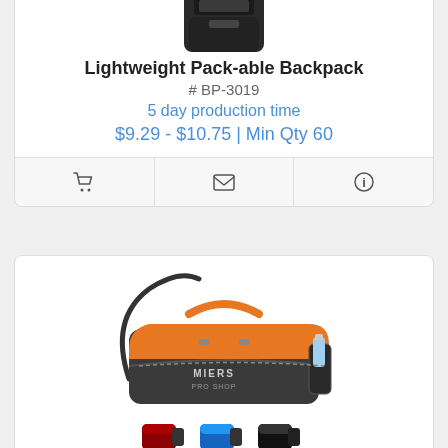[Figure (photo): Lightweight Pack-able Backpack product image (partially visible at top)]
Lightweight Pack-able Backpack
# BP-3019
5 day production time
$9.29 - $10.75 | Min Qty 60
[Figure (photo): Center Court Duffel bag product image in orange and dark gray, with branding 'MIERS PRO SHOP', shown with color swatches: red, blue, black (row 1) and red, dark gray, navy (row 2)]
Center Court Duffel